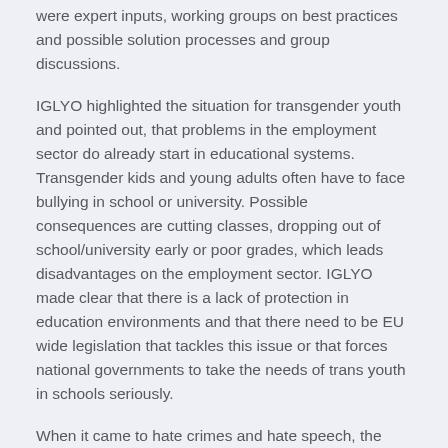were expert inputs, working groups on best practices and possible solution processes and group discussions.
IGLYO highlighted the situation for transgender youth and pointed out, that problems in the employment sector do already start in educational systems. Transgender kids and young adults often have to face bullying in school or university. Possible consequences are cutting classes, dropping out of school/university early or poor grades, which leads disadvantages on the employment sector. IGLYO made clear that there is a lack of protection in education environments and that there need to be EU wide legislation that tackles this issue or that forces national governments to take the needs of trans youth in schools seriously.
When it came to hate crimes and hate speech, the lack of EU wide recognition of hate crimes against transgendered persons has been a big topic. Also it came clear, that the majority of transpersones do not trust the police and wont report hate crimes as they have to fear discrimination or violence by police officers. The participants tried to find ideas to solve this problem, for